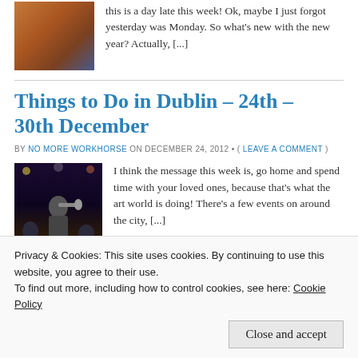this is a day late this week! Ok, maybe I just forgot yesterday was Monday. So what's new with the new year? Actually, [...]
Things to Do in Dublin – 24th – 30th December
BY NO MORE WORKHORSE ON DECEMBER 24, 2012 • ( LEAVE A COMMENT )
[Figure (photo): Photo of musicians performing on stage, trumpet player in foreground with crowd behind]
I think the message this week is, go home and spend time with your loved ones, because that's what the art world is doing! There's a few events on around the city, [...]
Deputy Fuzz – Interview with
[Figure (photo): Partial thumbnail with yellow background showing text about Whelans]
back together? Well I think it's more of a one-
Privacy & Cookies: This site uses cookies. By continuing to use this website, you agree to their use.
To find out more, including how to control cookies, see here: Cookie Policy
Close and accept